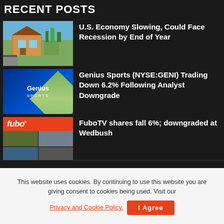RECENT POSTS
U.S. Economy Slowing, Could Face Recession by End of Year
Genius Sports (NYSE:GENI) Trading Down 6.2% Following Analyst Downgrade
FuboTV shares fall 6%; downgraded at Wedbush
POPULAR POSTS
This website uses cookies. By continuing to use this website you are giving consent to cookies being used. Visit our Privacy and Cookie Policy.